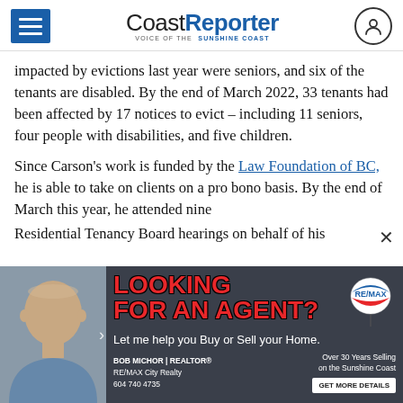Coast Reporter — VOICE OF THE SUNSHINE COAST
impacted by evictions last year were seniors, and six of the tenants are disabled. By the end of March 2022, 33 tenants had been affected by 17 notices to evict – including 11 seniors, four people with disabilities, and five children.
Since Carson's work is funded by the Law Foundation of BC, he is able to take on clients on a pro bono basis. By the end of March this year, he attended nine Residential Tenancy Board hearings on behalf of his...
[Figure (advertisement): RE/MAX real estate advertisement featuring Bob Michor, Realtor, with text 'LOOKING FOR AN AGENT? Let me help you Buy or Sell your Home. BOB MICHOR | REALTOR® RE/MAX City Realty 604 740 4735, Over 30 Years Selling on the Sunshine Coast, GET MORE DETAILS']